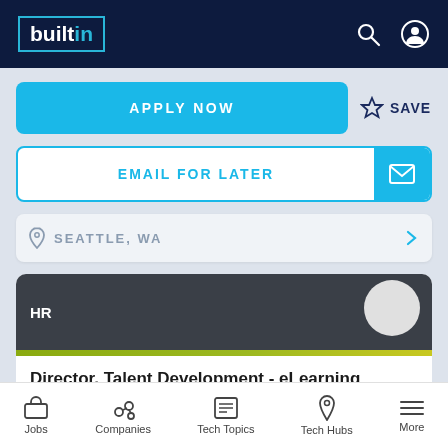builtin
APPLY NOW
SAVE
EMAIL FOR LATER
SEATTLE, WA
HR
Director, Talent Development - eLearning Instructional Design
Jobs  Companies  Tech Topics  Tech Hubs  More